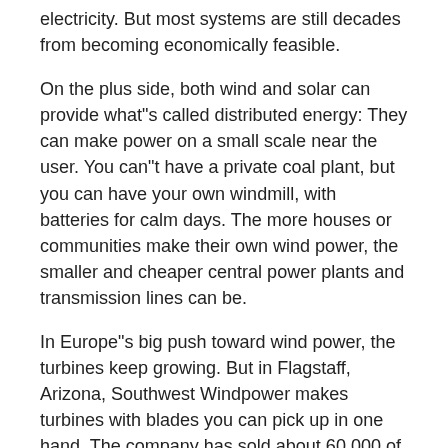electricity. But most systems are still decades from becoming economically feasible.
On the plus side, both wind and solar can provide what"s called distributed energy: They can make power on a small scale near the user. You can"t have a private coal plant, but you can have your own windmill, with batteries for calm days. The more houses or communities make their own wind power, the smaller and cheaper central power plants and transmission lines can be.
In Europe"s big push toward wind power, the turbines keep growing. But in Flagstaff, Arizona, Southwest Windpower makes turbines with blades you can pick up in one hand. The company has sold about 60,000 of the little turbines, most of them for off-grid homes, sailboats, and remote sites like lighthouses and weather stations. At 400 watts